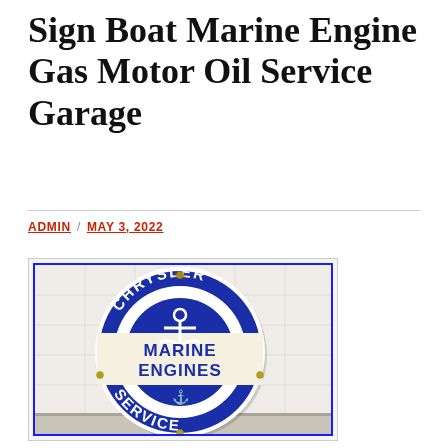Sign Boat Marine Engine Gas Motor Oil Service Garage
ADMIN / MAY 3, 2022
[Figure (photo): Vintage Chrysler Marine Engines Service porcelain enamel round sign, blue and white, with anchor graphic and circular text reading CHRYSLER SERVICE around the border and MARINE ENGINES in the center band]